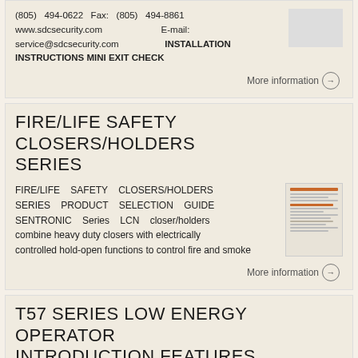(805) 494-0622   Fax:   (805)   494-8861
www.sdcsecurity.com                                    E-mail:
service@sdcsecurity.com                                INSTALLATION INSTRUCTIONS MINI EXIT CHECK
More information →
FIRE/LIFE SAFETY CLOSERS/HOLDERS SERIES
FIRE/LIFE SAFETY CLOSERS/HOLDERS SERIES PRODUCT SELECTION GUIDE SENTRONIC Series LCN closer/holders combine heavy duty closers with electrically controlled hold-open functions to control fire and smoke
More information →
T57 SERIES LOW ENERGY OPERATOR INTRODUCTION FEATURES BENEFITS PATENTS TABLE OF CONTENTS